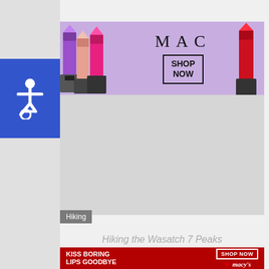[Figure (other): MAC cosmetics advertisement banner showing colorful lipsticks with text MAC and SHOP NOW button]
[Figure (other): Gray image placeholder for article thumbnail]
Hiking
Hiking the Wasatch 7 Peaks
[Figure (other): Large gray image placeholder for article content]
[Figure (other): Macy's advertisement banner: KISS BORING LIPS GOODBYE with SHOP NOW button and Macy's star logo]
CLOSE